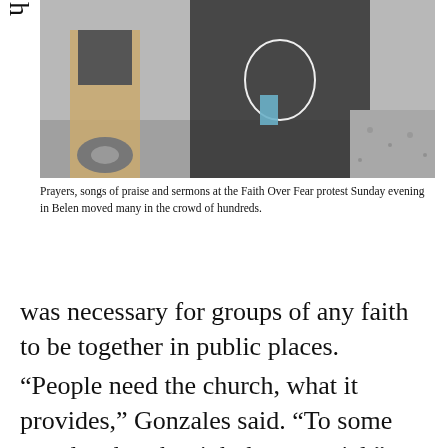h e b el ie v e d it
[Figure (photo): Outdoor protest photo showing people at the Faith Over Fear protest in Belen, with two individuals visible, one wearing a black t-shirt with a design and holding something, another in tan/khaki pants, with a motorcycle and gravel visible in the background.]
Prayers, songs of praise and sermons at the Faith Over Fear protest Sunday evening in Belen moved many in the crowd of hundreds.
was necessary for groups of any faith to be together in public places.
“People need the church, what it provides,” Gonzales said. “To some people, church might be essential.”